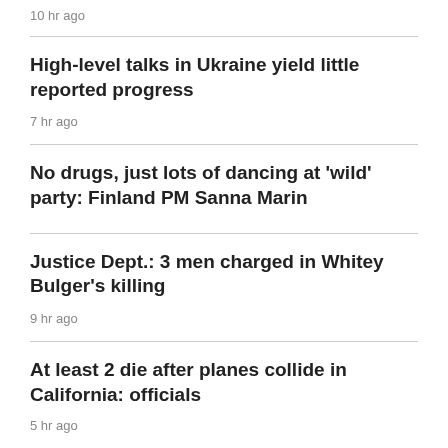10 hr ago
High-level talks in Ukraine yield little reported progress
7 hr ago
No drugs, just lots of dancing at 'wild' party: Finland PM Sanna Marin
Justice Dept.: 3 men charged in Whitey Bulger's killing
9 hr ago
At least 2 die after planes collide in California: officials
5 hr ago